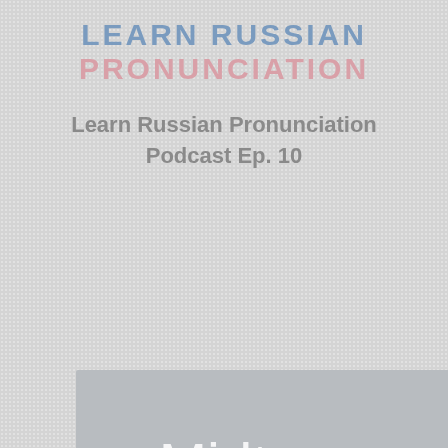LEARN RUSSIAN PRONUNCIATION
Learn Russian Pronunciation
Podcast Ep. 10
[Figure (illustration): A grey rectangular image block with the text 'Midterm today' written in white handwriting-style font on a medium grey background.]